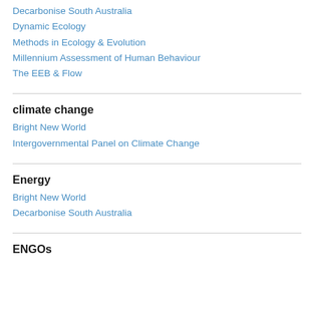Decarbonise South Australia
Dynamic Ecology
Methods in Ecology & Evolution
Millennium Assessment of Human Behaviour
The EEB & Flow
climate change
Bright New World
Intergovernmental Panel on Climate Change
Energy
Bright New World
Decarbonise South Australia
ENGOs